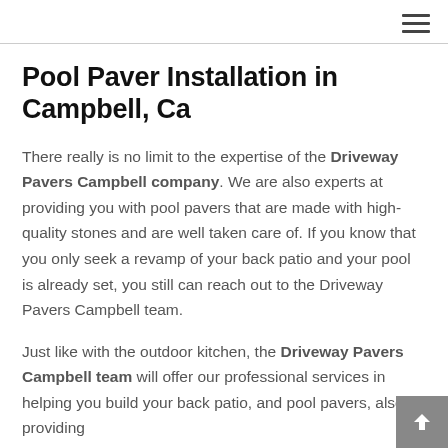≡
Pool Paver Installation in Campbell, Ca
There really is no limit to the expertise of the Driveway Pavers Campbell company. We are also experts at providing you with pool pavers that are made with high-quality stones and are well taken care of. If you know that you only seek a revamp of your back patio and your pool is already set, you still can reach out to the Driveway Pavers Campbell team.
Just like with the outdoor kitchen, the Driveway Pavers Campbell team will offer our professional services in helping you build your back patio, and pool pavers, also providing